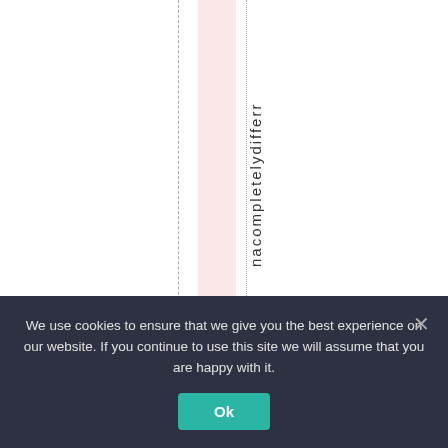[Figure (other): Document layout editor view showing a dashed vertical column guide line on the left, a pink highlighted column region, and a dotted vertical line. Vertical text reading 'nacompletelydifferr' runs along the right edge of the pink column area.]
We use cookies to ensure that we give you the best experience on our website. If you continue to use this site we will assume that you are happy with it.
Ok